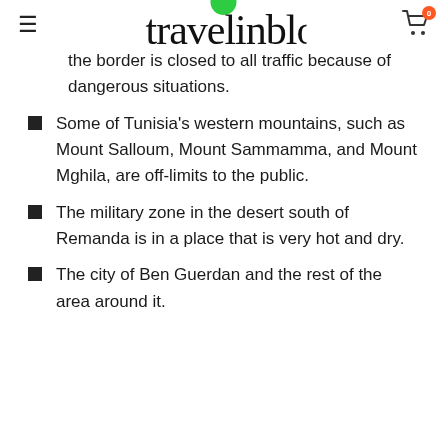travelinblogs
the border is closed to all traffic because of dangerous situations.
Some of Tunisia's western mountains, such as Mount Salloum, Mount Sammamma, and Mount Mghila, are off-limits to the public.
The military zone in the desert south of Remanda is in a place that is very hot and dry.
The city of Ben Guerdan and the rest of the area around it.